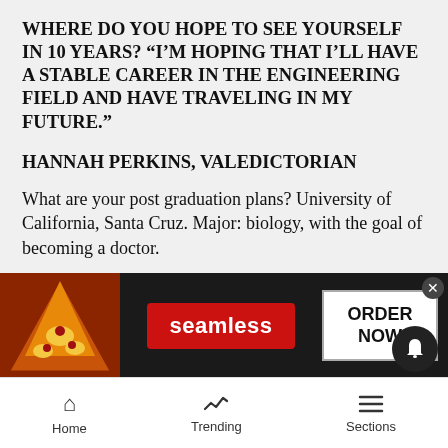WHERE DO YOU HOPE TO SEE YOURSELF IN 10 YEARS? “I’M HOPING THAT I’LL HAVE A STABLE CAREER IN THE ENGINEERING FIELD AND HAVE TRAVELING IN MY FUTURE.”
HANNAH PERKINS, VALEDICTORIAN
What are your post graduation plans? University of California, Santa Cruz. Major: biology, with the goal of becoming a doctor.
WHAT’S THE MOST IMPORTANT LESSON YOU LEARNED THROUGHOUT YOUR HIGH SCHOOL CAREER? “THAT KINDNESS IS REALLY THE WAY TO HANDLE LIFE. TO ALWAYS BE HAPPY AND TO BE KIND. EVERYBODY NEEDS TO BE TREATED NICELY…
[Figure (screenshot): Advertisement banner for Seamless food delivery showing pizza image, Seamless logo in red, and ORDER NOW button]
Home   Trending   Sections